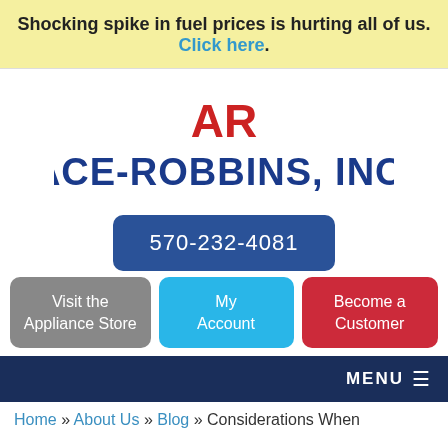Shocking spike in fuel prices is hurting all of us. Click here.
[Figure (logo): Ace-Robbins, Inc. logo with red AR monogram and blue bold text ACE-ROBBINS, INC.]
570-232-4081
Visit the Appliance Store
My Account
Become a Customer
MENU
Home » About Us » Blog » Considerations When